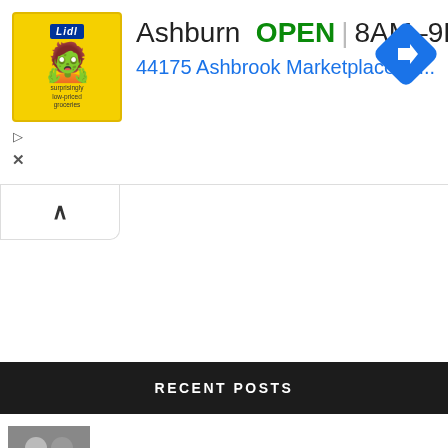[Figure (screenshot): Lidl grocery store advertisement banner showing store location in Ashburn, OPEN 8AM-9PM, address 44175 Ashbrook Marketplace Pl..., with navigation diamond icon and Lidl yellow logo]
[Figure (screenshot): Collapse/minimize tab button with upward caret arrow]
RECENT POSTS
Meghan Markle 'telling the world' Prince